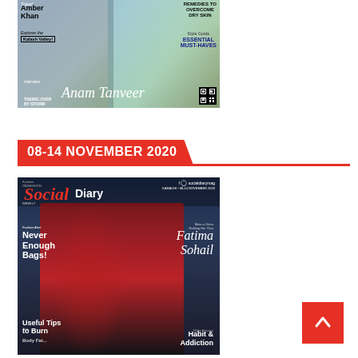[Figure (photo): Magazine cover featuring Amber Khan and Anam Tanveer, with text about Kalash Valley travel, remedies for dry skin, essential must-haves, and a QR code]
08-14 NOVEMBER 2020
[Figure (photo): Social Diary magazine cover featuring a performer in red jacket (Rahat Fateh Ali Khan), with Fatima Sohail, articles about Never Enough Bags, Useful Tips to Burn, Habit & Addiction]